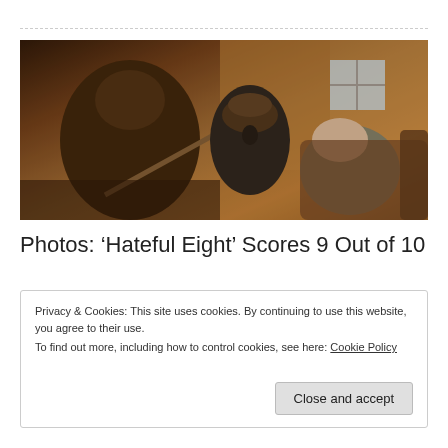[Figure (photo): Movie still from 'The Hateful Eight' showing three characters in a rustic wooden interior — a man in a large fur coat holding a rifle, a woman with mouth open, and an older man reacting in the background.]
Photos: ‘Hateful Eight’ Scores 9 Out of 10
Privacy & Cookies: This site uses cookies. By continuing to use this website, you agree to their use.
To find out more, including how to control cookies, see here: Cookie Policy
Close and accept